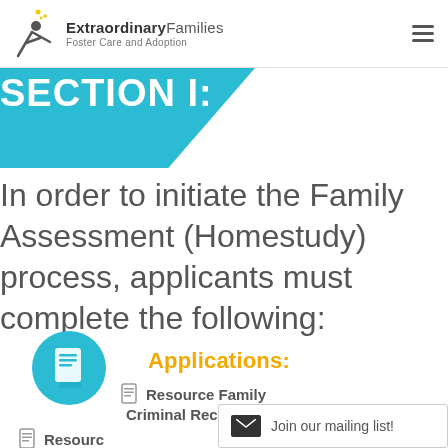Extraordinary Families — Foster Care and Adoption
SECTION I:
In order to initiate the Family Assessment (Homestudy) process, applicants must complete the following:
Applications:
Resource Family Criminal Record Statement (RFA 01B)
Resource
Join our mailing list!